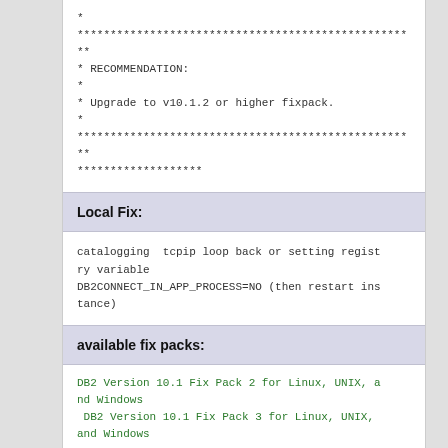*
****************************************************
* RECOMMENDATION:
*
* Upgrade to v10.1.2 or higher fixpack.
*
****************************************************
*******************
Local Fix:
catalogging  tcpip loop back or setting registry variable
DB2CONNECT_IN_APP_PROCESS=NO (then restart instance)
available fix packs:
DB2 Version 10.1 Fix Pack 2 for Linux, UNIX, and Windows
 DB2 Version 10.1 Fix Pack 3 for Linux, UNIX, and Windows